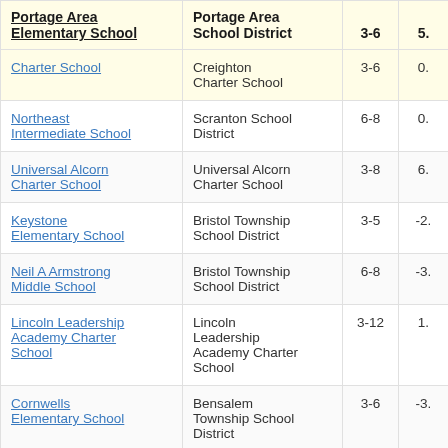| Portage Area Elementary School | Portage Area School District | 3-6 | 5. |
| --- | --- | --- | --- |
| Charter School | Creighton Charter School | 3-6 | 0. |
| Northeast Intermediate School | Scranton School District | 6-8 | 0. |
| Universal Alcorn Charter School | Universal Alcorn Charter School | 3-8 | 6. |
| Keystone Elementary School | Bristol Township School District | 3-5 | -2. |
| Neil A Armstrong Middle School | Bristol Township School District | 6-8 | -3. |
| Lincoln Leadership Academy Charter School | Lincoln Leadership Academy Charter School | 3-12 | 1. |
| Cornwells Elementary School | Bensalem Township School District | 3-6 | -3. |